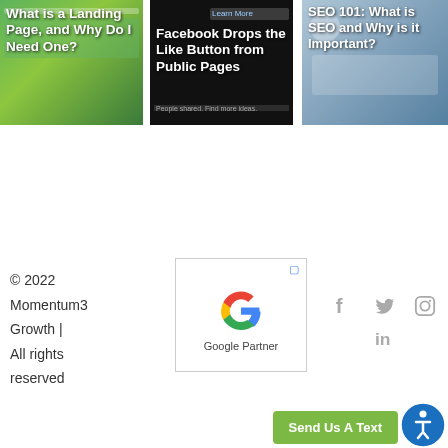[Figure (screenshot): Thumbnail: What is a Landing Page, and Why Do I Need One?]
[Figure (screenshot): Thumbnail: Facebook Drops the Like Button from Public Pages]
[Figure (screenshot): Thumbnail: SEO 101: What is SEO and Why is it Important?]
© 2022 Momentum3 Growth | All rights reserved
[Figure (logo): Google Partner badge logo]
[Figure (infographic): Social media icons: Facebook, Twitter, Instagram, LinkedIn]
Send Us A Text